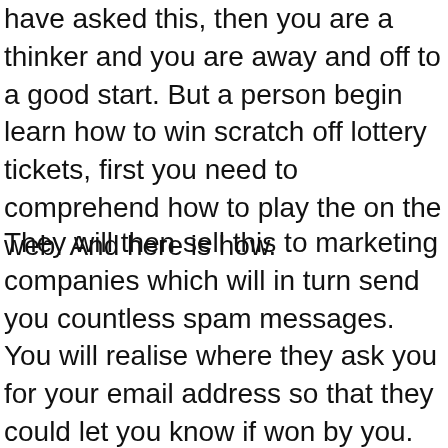have asked this, then you are a thinker and you are away and off to a good start. But a person begin learn how to win scratch off lottery tickets, first you need to comprehend how to play the on the web. And here is how.
They will then sell this to marketing companies which will in turn send you countless spam messages. You will realise where they ask you for your email address so that they could let you know if won by you. Right away you ought to understand that this is not a legitimate lottery, because legitimate lotteries don’t notify customers by email software. They will contact you by phone, or registered mail, even by person but never by email. Afraid scenarios isn’t even a prize for entering the online lottery and also speed settings email address is given away in vain.